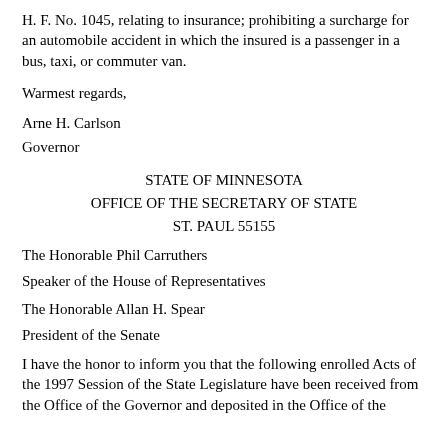H. F. No. 1045, relating to insurance; prohibiting a surcharge for an automobile accident in which the insured is a passenger in a bus, taxi, or commuter van.
Warmest regards,
Arne H. Carlson
Governor
STATE OF MINNESOTA
OFFICE OF THE SECRETARY OF STATE
ST. PAUL 55155
The Honorable Phil Carruthers
Speaker of the House of Representatives
The Honorable Allan H. Spear
President of the Senate
I have the honor to inform you that the following enrolled Acts of the 1997 Session of the State Legislature have been received from the Office of the Governor and deposited in the Office of the